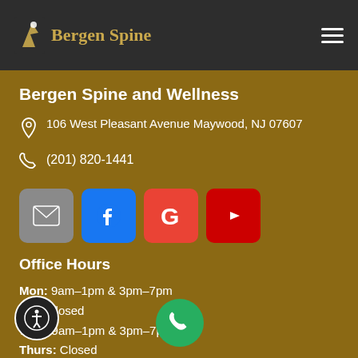Bergen Spine
Bergen Spine and Wellness
106 West Pleasant Avenue Maywood, NJ 07607
(201) 820-1441
[Figure (infographic): Social media icon buttons: email (grey), Facebook (blue), Google (red-orange), YouTube (red)]
Office Hours
Mon: 9am–1pm & 3pm–7pm
Tue: Closed
Wed: 9am–1pm & 3pm–7pm
Thurs: Closed